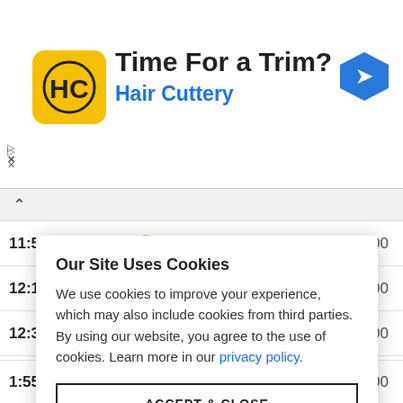[Figure (logo): Hair Cuttery advertisement banner with HC logo, 'Time For a Trim?' heading, and blue diamond arrow icon]
| Time | Condition | Temp | Precip |
| --- | --- | --- | --- |
| 11:55 AM | [sun/cloud icon] | 23 | 0.00 |
| 12:15 PM | [sun/cloud icon] | 24 | 0.00 |
| 12:35 PM | [sun/cloud icon] | 24 | 0.00 |
|  |  |  | 0.00 |
|  |  |  | 0.00 |
|  |  |  | 0.00 |
| 1:55 PM | [sun/cloud icon] | 25 | 0.00 |
Our Site Uses Cookies
We use cookies to improve your experience, which may also include cookies from third parties. By using our website, you agree to the use of cookies. Learn more in our privacy policy.
ACCEPT & CLOSE